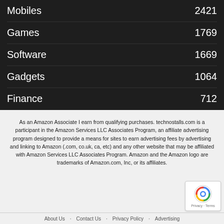Mobiles  2421
Games  1769
Software  1669
Gadgets  1064
Finance  712
As an Amazon Associate I earn from qualifying purchases. technostalls.com is a participant in the Amazon Services LLC Associates Program, an affiliate advertising program designed to provide a means for sites to earn advertising fees by advertising and linking to Amazon (.com, co.uk, ca, etc) and any other website that may be affiliated with Amazon Services LLC Associates Program. Amazon and the Amazon logo are trademarks of Amazon.com, Inc, or its affiliates.
About Us  Contact Us  Privacy Policy  Advertising